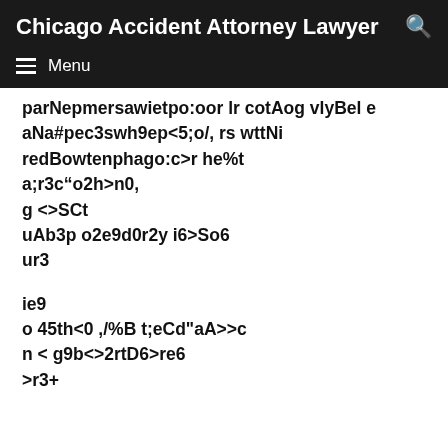Chicago Accident Attorney Lawyer
parNepmersawietpo:oor lr cotAog vlyBel e aNa#pec3swh9ep<5;o/, rs wttNi redBowtenphago:c>r he%t a;r3c“o2h>n0, g <>SCt uAb3p o2e9d0r2y i6>So6 ur3
ie9 o 45th<0 ,/%B t;eCd"aA>>c n < g9b<>2rtD6>re6 >r3+